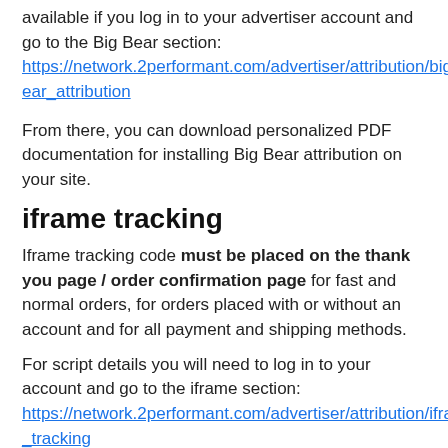available if you log in to your advertiser account and go to the Big Bear section: https://network.2performant.com/advertiser/attribution/big_bear_attribution
From there, you can download personalized PDF documentation for installing Big Bear attribution on your site.
iframe tracking
Iframe tracking code must be placed on the thank you page / order confirmation page for fast and normal orders, for orders placed with or without an account and for all payment and shipping methods.
For script details you will need to log in to your account and go to the iframe section: https://network.2performant.com/advertiser/attribution/iframe_tracking